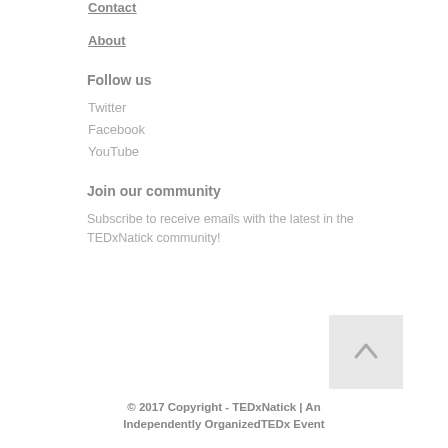Contact
About
Follow us
Twitter
Facebook
YouTube
Join our community
Subscribe to receive emails with the latest in the TEDxNatick community!
[Figure (other): Back to top arrow button]
© 2017 Copyright - TEDxNatick | An Independently OrganizedTEDx Event